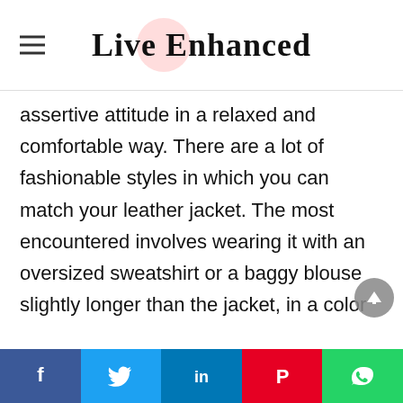Live Enhanced
assertive attitude in a relaxed and comfortable way. There are a lot of fashionable styles in which you can match your leather jacket. The most encountered involves wearing it with an oversized sweatshirt or a baggy blouse slightly longer than the jacket, in a color that compliments your skin tone, paired with tight skinny jeans and army boots.

This rock-star vibe inspires many individuals to feel more confident while carrying themselves.
f  Twitter  in  P  WhatsApp